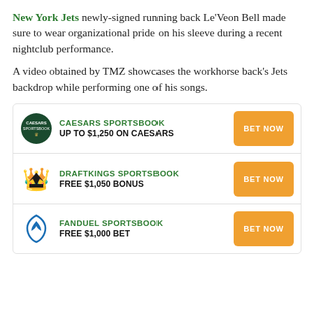New York Jets newly-signed running back Le'Veon Bell made sure to wear organizational pride on his sleeve during a recent nightclub performance.
A video obtained by TMZ showcases the workhorse back's Jets backdrop while performing one of his songs.
| Logo | Sportsbook | Offer | Action |
| --- | --- | --- | --- |
| Caesars logo | CAESARS SPORTSBOOK | UP TO $1,250 ON CAESARS | BET NOW |
| DraftKings logo | DRAFTKINGS SPORTSBOOK | FREE $1,050 BONUS | BET NOW |
| FanDuel logo | FANDUEL SPORTSBOOK | FREE $1,000 BET | BET NOW |